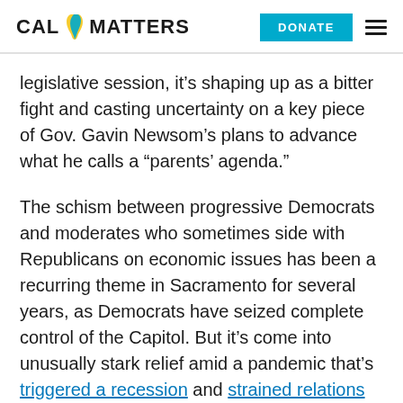CAL MATTERS | DONATE
legislative session, it’s shaping up as a bitter fight and casting uncertainty on a key piece of Gov. Gavin Newsom’s plans to advance what he calls a “parents’ agenda.”
The schism between progressive Democrats and moderates who sometimes side with Republicans on economic issues has been a recurring theme in Sacramento for several years, as Democrats have seized complete control of the Capitol. But it’s come into unusually stark relief amid a pandemic that’s triggered a recession and strained relations between the Democratic